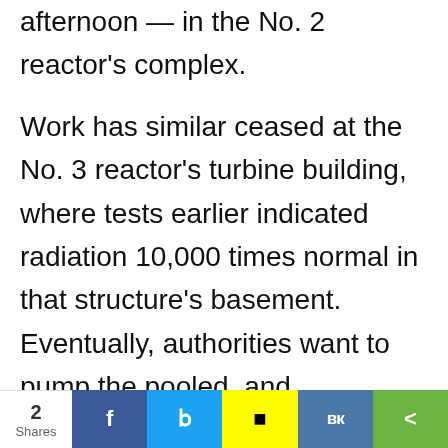afternoon — in the No. 2 reactor's complex.
Work has similar ceased at the No. 3 reactor's turbine building, where tests earlier indicated radiation 10,000 times normal in that structure's basement. Eventually, authorities want to pump the pooled, and contaminated, water from both these reactors' turbine buildings…
2 Shares | Social share buttons: Facebook, Twitter, Snapchat, VK, Share